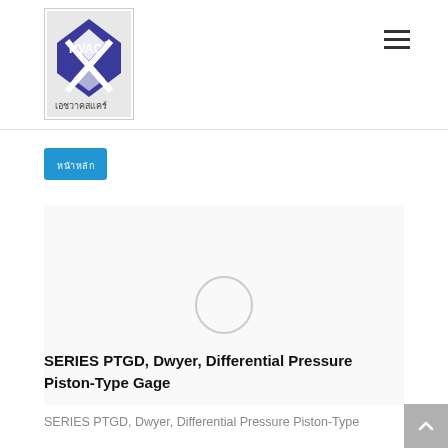[Figure (logo): HVAC squared logo with diamond shape and Thai text เอชวาคสแคร์]
☰
หน้าหลัก
[Figure (photo): Product image area showing a loading circle placeholder for SERIES PTGD Dwyer Differential Pressure Piston-Type Gage product photo]
SERIES PTGD, Dwyer, Differential Pressure Piston-Type Gage
SERIES PTGD, Dwyer, Differential Pressure Piston-Type